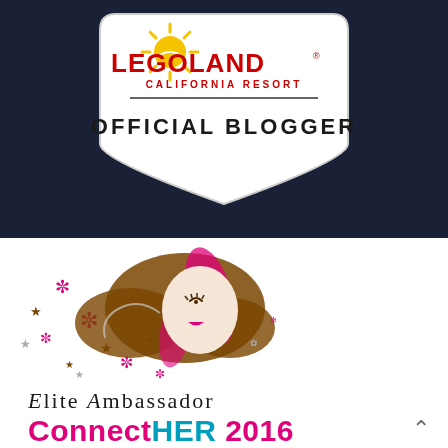[Figure (logo): LEGOLAND California Resort Official Blogger badge on dark navy background. White shield shape with sun/star graphic, LEGOLAND logo in red and black, 'CALIFORNIA RESORT' in red, 'OFFICIAL BLOGGER' in bold black text.]
[Figure (logo): ConnectHER illustrated logo: stylized woman face with flowing brown and pink hair, surrounded by pink and brown star/snowflake decorative elements.]
Elite Ambassador
ConnectHER 2016